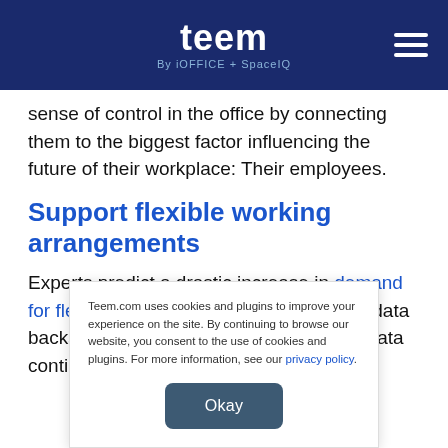teem By iOFFICE + SpaceIQ
sense of control in the office by connecting them to the biggest factor influencing the future of their workplace: Their employees.
Support flexible working arrangements
Experts predict a drastic increase in demand for flex work after the pandemic, and the data backs them up. Survey after survey, the data continues to show a rising number of
Teem.com uses cookies and plugins to improve your experience on the site. By continuing to browse our website, you consent to the use of cookies and plugins. For more information, see our privacy policy.